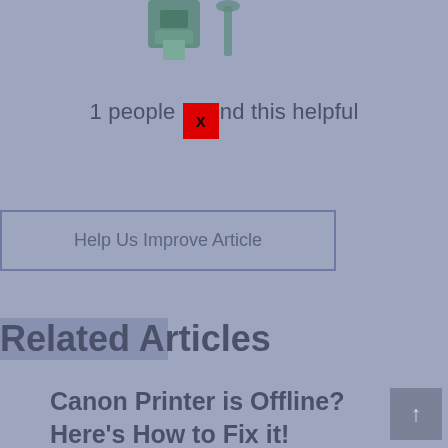[Figure (illustration): Partial view of printer/document icons in teal/green color at top of page]
1 people [X] nd this helpful
Help Us Improve Article
Related Articles
Canon Printer is Offline? Here's How to Fix it!